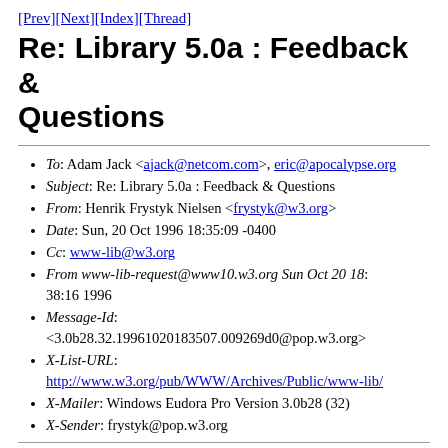[Prev][Next][Index][Thread]
Re: Library 5.0a : Feedback & Questions
To: Adam Jack <ajack@netcom.com>, eric@apocalypse.org
Subject: Re: Library 5.0a : Feedback & Questions
From: Henrik Frystyk Nielsen <frystyk@w3.org>
Date: Sun, 20 Oct 1996 18:35:09 -0400
Cc: www-lib@w3.org
From www-lib-request@www10.w3.org Sun Oct 20 18: 38:16 1996
Message-Id: <3.0b28.32.19961020183507.009269d0@pop.w3.org>
X-List-URL: http://www.w3.org/pub/WWW/Archives/Public/www-lib/
X-Mailer: Windows Eudora Pro Version 3.0b28 (32)
X-Sender: frystyk@pop.w3.org
At 03:53 PM 10/20/96 -0600, Adam Jack wrote: